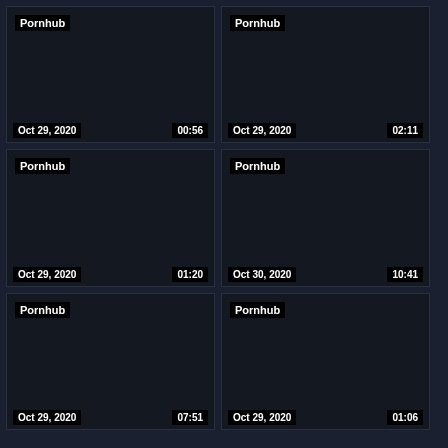[Figure (screenshot): Video thumbnail grid showing 6 blacked-out video thumbnails from Pornhub, each with a brand label, date, and duration overlay]
Pornhub | Oct 29, 2020 | 00:56
Pornhub | Oct 29, 2020 | 02:11
Pornhub | Oct 29, 2020 | 01:20
Pornhub | Oct 30, 2020 | 10:41
Pornhub | Oct 29, 2020 | 07:51
Pornhub | Oct 29, 2020 | 01:06